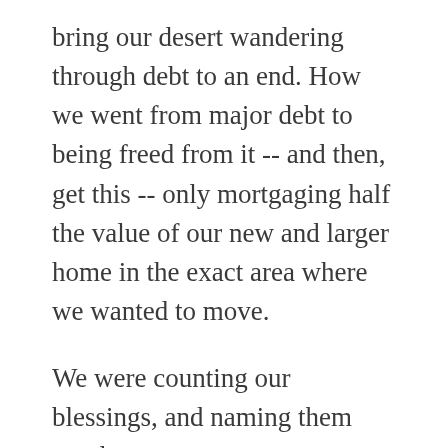bring our desert wandering through debt to an end. How we went from major debt to being freed from it -- and then, get this -- only mortgaging half the value of our new and larger home in the exact area where we wanted to move.
We were counting our blessings, and naming them one-by-one.
And we were telling anyone who would listen about how God had showed up through the wisdom of